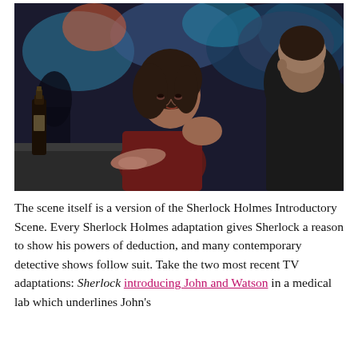[Figure (photo): A woman with dark hair wearing a dark red top sits at a bar or table, looking toward a man whose back is to the camera. The setting appears to be a dimly lit venue with colorful lights in the background. A dark beer bottle is visible on the left side of the table.]
The scene itself is a version of the Sherlock Holmes Introductory Scene. Every Sherlock Holmes adaptation gives Sherlock a reason to show his powers of deduction, and many contemporary detective shows follow suit. Take the two most recent TV adaptations: Sherlock introducing John and Watson in a medical lab which underlines John's